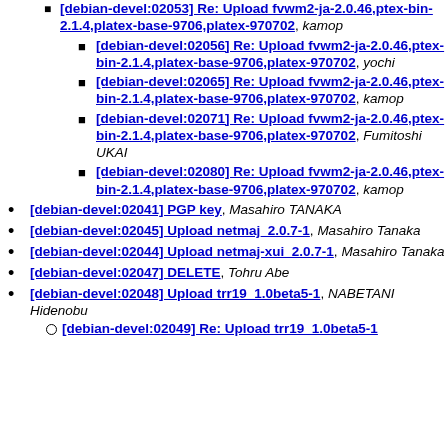[debian-devel:02053] Re: Upload fvwm2-ja-2.0.46,ptex-bin-2.1.4,platex-base-9706,platex-970702, kamop (sub-bullet level 1)
[debian-devel:02056] Re: Upload fvwm2-ja-2.0.46,ptex-bin-2.1.4,platex-base-9706,platex-970702, yochi (sub-bullet level 2)
[debian-devel:02065] Re: Upload fvwm2-ja-2.0.46,ptex-bin-2.1.4,platex-base-9706,platex-970702, kamop (sub-bullet level 2)
[debian-devel:02071] Re: Upload fvwm2-ja-2.0.46,ptex-bin-2.1.4,platex-base-9706,platex-970702, Fumitoshi UKAI (sub-bullet level 2)
[debian-devel:02080] Re: Upload fvwm2-ja-2.0.46,ptex-bin-2.1.4,platex-base-9706,platex-970702, kamop (sub-bullet level 2)
[debian-devel:02041] PGP key, Masahiro TANAKA
[debian-devel:02045] Upload netmaj_2.0.7-1, Masahiro Tanaka
[debian-devel:02044] Upload netmaj-xui_2.0.7-1, Masahiro Tanaka
[debian-devel:02047] DELETE, Tohru Abe
[debian-devel:02048] Upload trr19_1.0beta5-1, NABETANI Hidenobu
[debian-devel:02049] Re: Upload trr19_1.0beta5-1 (sub-bullet)